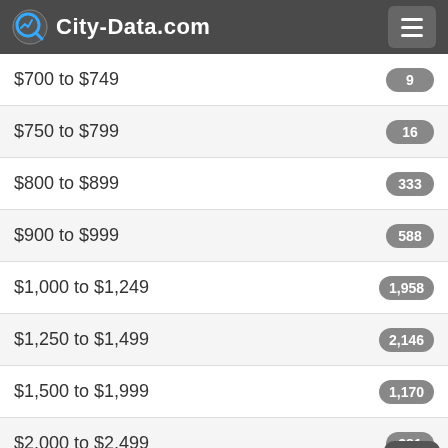City-Data.com
$700 to $749
$750 to $799
$800 to $899
$900 to $999
$1,000 to $1,249
$1,250 to $1,499
$1,500 to $1,999
$2,000 to $2,499
$2,500 to $2,999